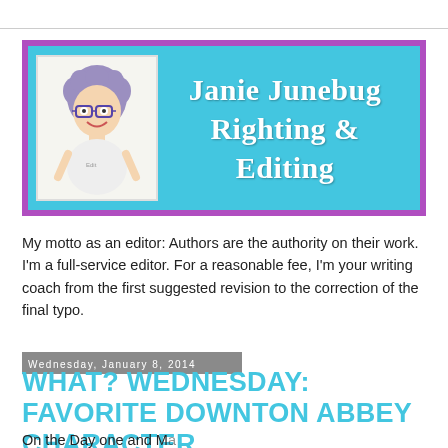[Figure (logo): Blog banner header for 'Janie Junebug Righting & Editing' — cyan/turquoise background with purple border, cartoon avatar of a woman with glasses on the left, white bold text on the right]
My motto as an editor: Authors are the authority on their work. I'm a full-service editor. For a reasonable fee, I'm your writing coach from the first suggested revision to the correction of the final typo.
Wednesday, January 8, 2014
WHAT? WEDNESDAY: FAVORITE DOWNTON ABBEY CHARACTER
On the Day one and Manually